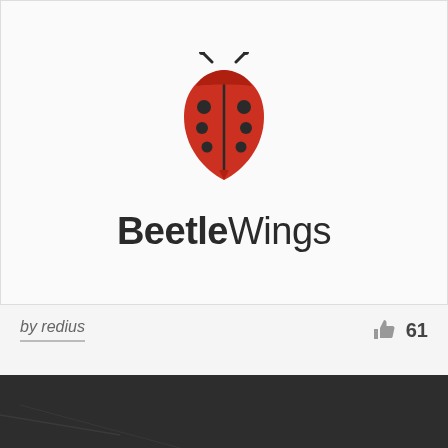[Figure (logo): BeetleWings logo — a red ladybug-shaped shield icon with black dots and antennae, above the text 'BeetleWings' in bold/regular sans-serif]
by redius
61
[Figure (photo): Dark charcoal/black textured background with faint diagonal lines, partially visible at the bottom of the page]